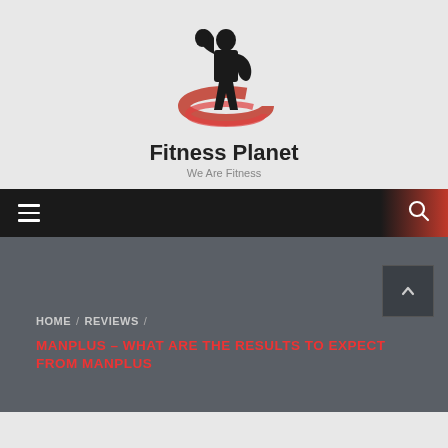[Figure (logo): Fitness Planet logo: black silhouette of muscular man flexing with red swoosh graphic]
Fitness Planet
We Are Fitness
[Figure (screenshot): Navigation bar with hamburger menu icon on left and search icon on right, dark background with red gradient on right end]
HOME / REVIEWS / MANPLUS – WHAT ARE THE RESULTS TO EXPECT FROM MANPLUS
MANPLUS – WHAT ARE THE RESULTS TO EXPECT FROM MANPLUS